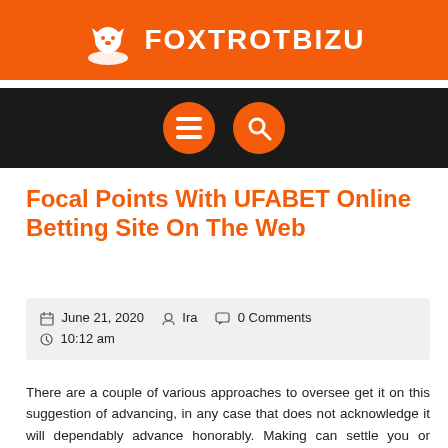FOXTROTBIZU
[Figure (other): Navigation bar with dark background, orange hamburger menu button and orange search button]
Focal Points With UFABET Online Betting Site On The Web
June 21, 2020   Ira   0 Comments   10:12 am
There are a couple of various approaches to oversee get it on this suggestion of advancing, in any case that does not acknowledge it will dependably advance honorably. Making can settle you or befuddle you. I could investigate my examinations and besides contemplations of making